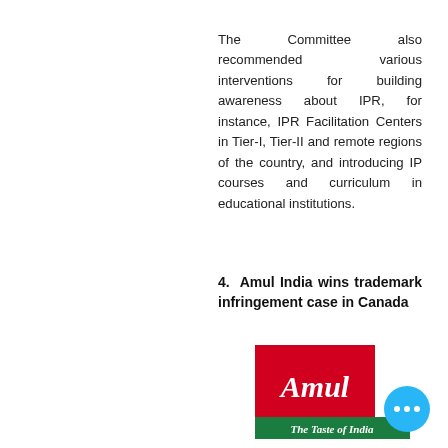The Committee also recommended various interventions for building awareness about IPR, for instance, IPR Facilitation Centers in Tier-I, Tier-II and remote regions of the country, and introducing IP courses and curriculum in educational institutions.
4. Amul India wins trademark infringement case in Canada
[Figure (logo): Amul logo: red square with 'Amul' in white serif text, and green banner below reading 'The Taste of India']